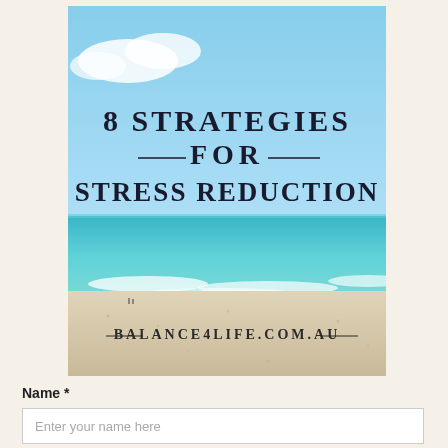[Figure (illustration): Book cover image showing a beach scene with blue sky, turquoise ocean, and sandy shore. Title text reads '8 STRATEGIES FOR STRESS REDUCTION' and website 'BALANCE4LIFE.COM.AU' at the bottom.]
Name *
Enter your name here